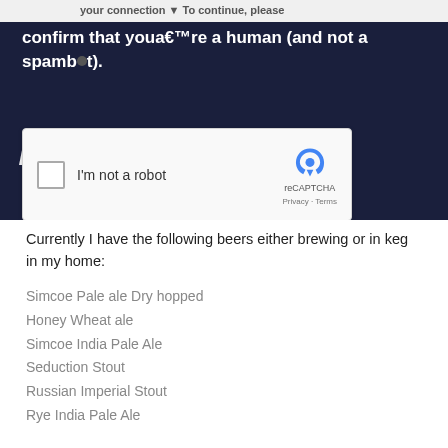[Figure (screenshot): Screenshot of a webpage showing a CAPTCHA verification prompt on a dark navy background. Text reads: 'your connection. To continue, please confirm that youâ€™re a human (and not a spambot).' with large decorative text below. A reCAPTCHA widget is overlaid with a checkbox labeled 'I'm not a robot' and the reCAPTCHA logo, Privacy and Terms links.]
Currently I have the following beers either brewing or in keg in my home:
Simcoe Pale ale Dry hopped
Honey Wheat ale
Simcoe India Pale Ale
Seduction Stout
Russian Imperial Stout
Rye India Pale Ale